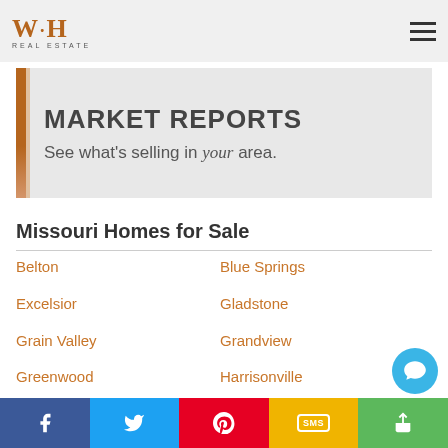W·H REAL ESTATE
[Figure (logo): W·H Real Estate logo with orange serif letters and hamburger menu icon]
MARKET REPORTS
See what's selling in your area.
Missouri Homes for Sale
Belton
Blue Springs
Excelsior
Gladstone
Grain Valley
Grandview
Greenwood
Harrisonville
Independence
Kansas City MO
Lake Lotawana
Lake Tapawingo
Lake Winnebago
Lee's Summit